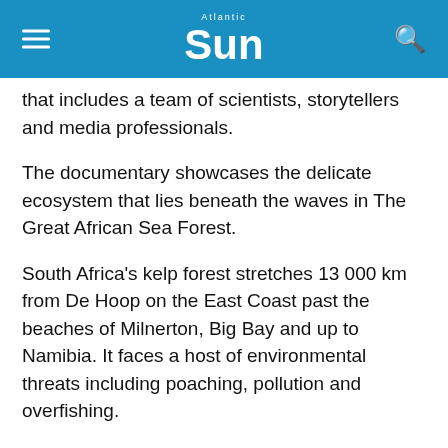Atlantic Sun
that includes a team of scientists, storytellers and media professionals.
The documentary showcases the delicate ecosystem that lies beneath the waves in The Great African Sea Forest.
South Africa's kelp forest stretches 13 000 km from De Hoop on the East Coast past the beaches of Milnerton, Big Bay and up to Namibia. It faces a host of environmental threats including poaching, pollution and overfishing.
My Octopus Teacher takes viewers on a journey into the kelp forest, as it follows Simon's Town resident Craig Foster, who, suffering from burnout, begins a daily diving regimen in the freezing kelp forests at the tip of Africa in order to re-energize himself.